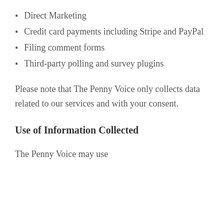Direct Marketing
Credit card payments including Stripe and PayPal
Filing comment forms
Third-party polling and survey plugins
Please note that The Penny Voice only collects data related to our services and with your consent.
Use of Information Collected
The Penny Voice may use